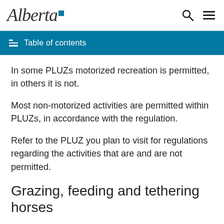Alberta [logo]
Table of contents
In some PLUZs motorized recreation is permitted, in others it is not.
Most non-motorized activities are permitted within PLUZs, in accordance with the regulation.
Refer to the PLUZ you plan to visit for regulations regarding the activities that are and are not permitted.
Grazing, feeding and tethering horses
The grazing and tethering of horses is not allowed